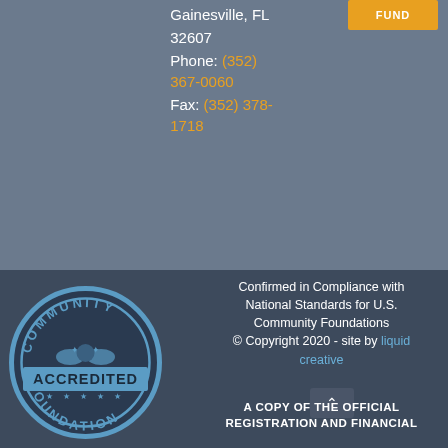Gainesville, FL 32607
Phone: (352) 367-0060
Fax: (352) 378-1718
[Figure (logo): Community Foundation Accredited circular badge/seal in blue and dark blue tones]
Confirmed in Compliance with National Standards for U.S. Community Foundations
© Copyright 2020 - site by liquid creative
A COPY OF THE OFFICIAL REGISTRATION AND FINANCIAL